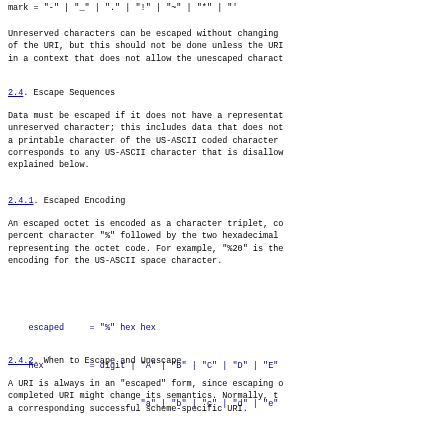mark        = "-" | "_" | "." | "!" | "~" | "*" | "'"
Unreserved characters can be escaped without changing of the URI, but this should not be done unless the URI in a context that does not allow the unescaped charact
2.4. Escape Sequences
Data must be escaped if it does not have a representat unreserved character; this includes data that does not a printable character of the US-ASCII coded character corresponds to any US-ASCII character that is disallow explained below.
2.4.1. Escaped Encoding
An escaped octet is encoded as a character triplet, co percent character "%" followed by the two hexadecimal representing the octet code. For example, "%20" is the encoding for the US-ASCII space character.
escaped     = "%" hex hex
hex         = digit | "A" | "B" | "C" | "D" | "E"
                      "a" | "b" | "c" | "d" | "e"
2.4.2. When to Escape and Unescape
A URI is always in an "escaped" form, since escaping o completed URI might change its semantics. Normally, t a corresponding successful scheme-specific URI.